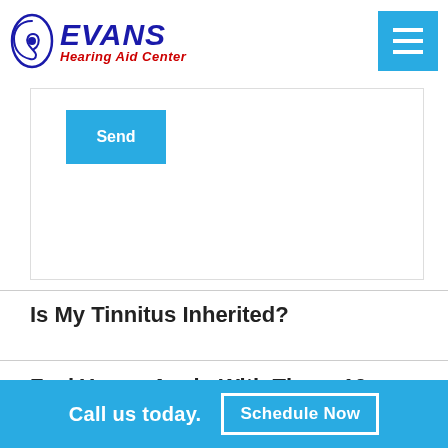Evans Hearing Aid Center
[Figure (screenshot): Send button - cyan/blue rectangle with white text]
Is My Tinnitus Inherited?
Feel Young Again With These 10 Hearing Tips
Call us today.
Schedule Now